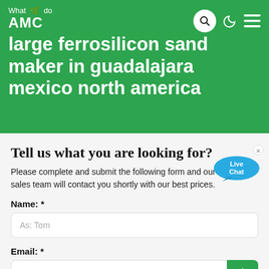What do AMC large ferrosilicon sand maker in guadalajara mexico north america
Tell us what you are looking for?
Please complete and submit the following form and our sales team will contact you shortly with our best prices.
Name: *
As: Tom
Email: *
As: vip@shanghaimeilan.com
Phone: *
With Country Code